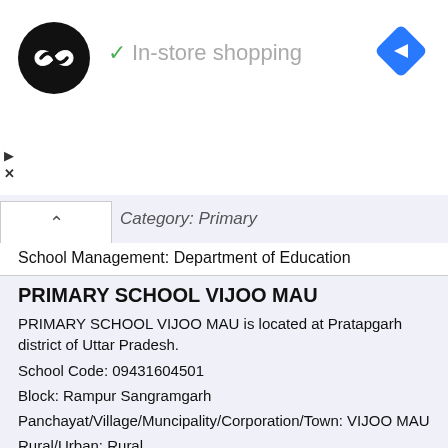[Figure (screenshot): Ad banner with circular black logo with infinity-loop symbol, green checkmark with 'In-store shopping' text in gray, blue diamond navigation icon at right, play arrow and X close button at left bottom]
Category: Primary
School Management: Department of Education
PRIMARY SCHOOL VIJOO MAU
PRIMARY SCHOOL VIJOO MAU is located at Pratapgarh district of Uttar Pradesh.
School Code: 09431604501
Block: Rampur Sangramgarh
Panchayat/Village/Muncipality/Corporation/Town: VIJOO MAU
Rural/Urban: Rural
School Category: Primary